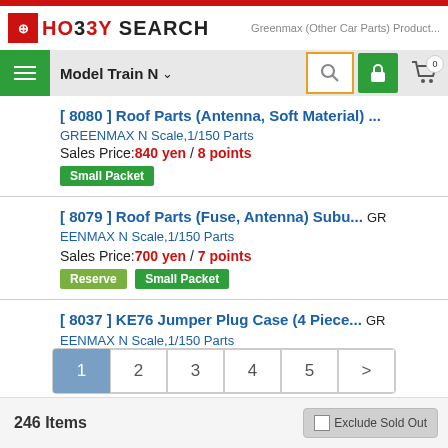HO33Y SEARCH — Greenmax (Other Car Parts) Product...
Model Train N
[ 8080 ] Roof Parts (Antenna, Soft Material) ... GREENMAX N Scale,1/150 Parts Sales Price: 840 yen / 8 points Small Packet
[ 8079 ] Roof Parts (Fuse, Antenna) Subu... GREENMAX N Scale,1/150 Parts Sales Price: 700 yen / 7 points Reserve Small Packet
[ 8037 ] KE76 Jumper Plug Case (4 Piece... GREENMAX N Scale,1/150 Parts Sales Price: 735 yen / 7 points Small Packet
1 2 3 4 5 >
246 Items  Exclude Sold Out